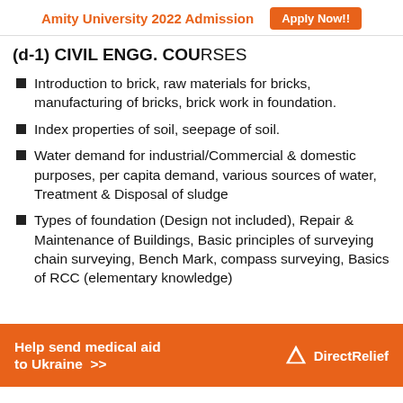Amity University 2022 Admission   Apply Now!!
(d-1) CIVIL ENGG. COURSES
Introduction to brick, raw materials for bricks, manufacturing of bricks, brick work in foundation.
Index properties of soil, seepage of soil.
Water demand for industrial/Commercial & domestic purposes, per capita demand, various sources of water, Treatment & Disposal of sludge
Types of foundation (Design not included), Repair & Maintenance of Buildings, Basic principles of surveying chain surveying, Bench Mark, compass surveying, Basics of RCC (elementary knowledge)
[Figure (infographic): Orange advertisement banner: 'Help send medical aid to Ukraine >>' with Direct Relief logo on the right]